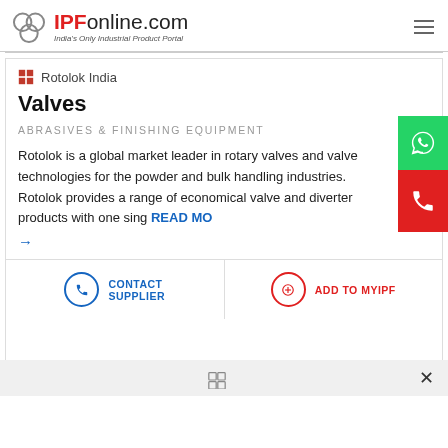IPFonline.com — India's Only Industrial Product Portal
Rotolok India
Valves
ABRASIVES & FINISHING EQUIPMENT
Rotolok is a global market leader in rotary valves and valve technologies for the powder and bulk handling industries. Rotolok provides a range of economical valve and diverter products with one sing READ MORE →
CONTACT SUPPLIER
ADD TO MYIPF